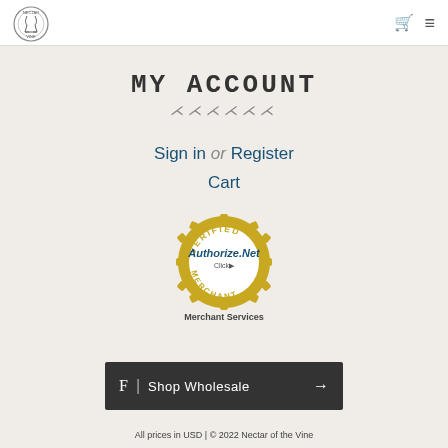[Figure (logo): Nectar of the Vine circular logo with wine glass graphic]
MY ACCOUNT
Sign in or Register
Cart
[Figure (illustration): Authorize.Net Verified Merchant seal/badge with text 'Merchant Services']
F | Shop Wholesale →
All prices in USD | © 2022 Nectar of the Vine